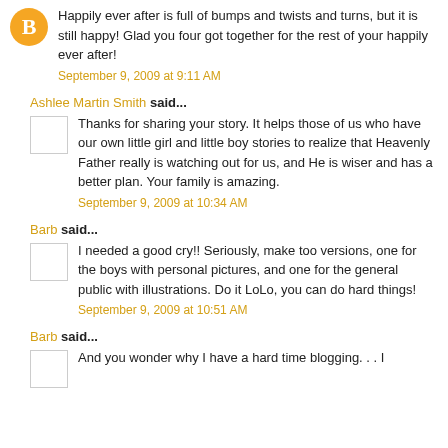Happily ever after is full of bumps and twists and turns, but it is still happy! Glad you four got together for the rest of your happily ever after!
September 9, 2009 at 9:11 AM
Ashlee Martin Smith said...
Thanks for sharing your story. It helps those of us who have our own little girl and little boy stories to realize that Heavenly Father really is watching out for us, and He is wiser and has a better plan. Your family is amazing.
September 9, 2009 at 10:34 AM
Barb said...
I needed a good cry!! Seriously, make too versions, one for the boys with personal pictures, and one for the general public with illustrations. Do it LoLo, you can do hard things!
September 9, 2009 at 10:51 AM
Barb said...
And you wonder why I have a hard time blogging. . . I